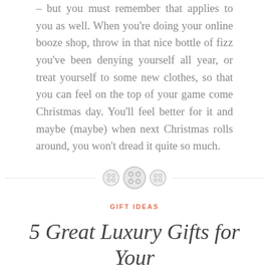– but you must remember that applies to you as well. When you're doing your online booze shop, throw in that nice bottle of fizz you've been denying yourself all year, or treat yourself to some new clothes, so that you can feel on the top of your game come Christmas day. You'll feel better for it and maybe (maybe) when next Christmas rolls around, you won't dread it quite so much.
[Figure (illustration): Decorative divider with three circular button icons between dotted horizontal lines]
GIFT IDEAS
5 Great Luxury Gifts for Your Man